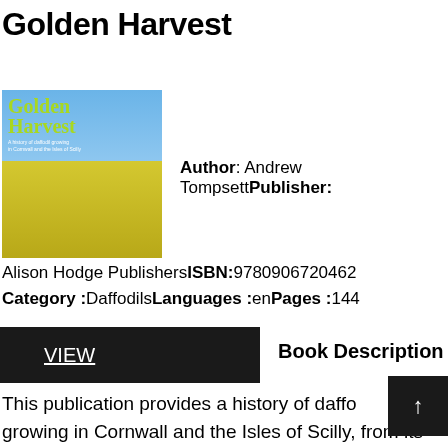Golden Harvest
[Figure (illustration): Book cover of Golden Harvest showing yellow daffodil field under blue sky, with green text reading Golden Harvest]
Author: Andrew TompsettPublisher:
Alison Hodge PublishersISBN:9780906720462
Category :DaffodilsLanguages :enPages :144
VIEW
Book Description
This publication provides a history of daffodil growing in Cornwall and the Isles of Scilly, from its